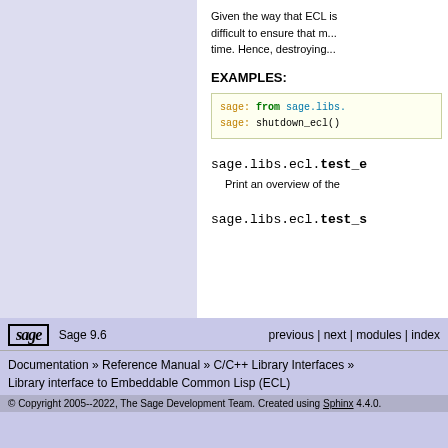Given the way that ECL is difficult to ensure that m... time. Hence, destroying...
EXAMPLES:
[Figure (screenshot): Code block showing: sage: from sage.libs. / sage: shutdown_ecl()]
sage.libs.ecl.test_e
Print an overview of the
sage.libs.ecl.test_s
Sage 9.6 | previous | next | modules | index | Documentation » Reference Manual » C/C++ Library Interfaces » Library interface to Embeddable Common Lisp (ECL) | © Copyright 2005--2022, The Sage Development Team. Created using Sphinx 4.4.0.